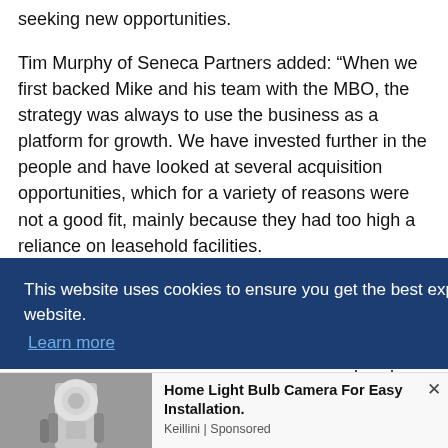seeking new opportunities.
Tim Murphy of Seneca Partners added: “When we first backed Mike and his team with the MBO, the strategy was always to use the business as a platform for growth. We have invested further in the people and have looked at several acquisition opportunities, which for a variety of reasons were not a good fit, mainly because they had too high a reliance on leasehold facilities.
[Figure (screenshot): Cookie consent banner overlay: dark blue background with white text reading 'This website uses cookies to ensure you get the best experience on our website.' with a 'Learn more' hyperlink. Partially obscures underlying article text showing fragments 'ng', 'evelop', 'ed', 'dered'.]
[Figure (screenshot): Advertisement strip at the bottom: image of a hand holding a light bulb camera on the left, with text 'Home Light Bulb Camera For Easy Installation.' by Keillini | Sponsored on the right. Close button (x) in top right.]